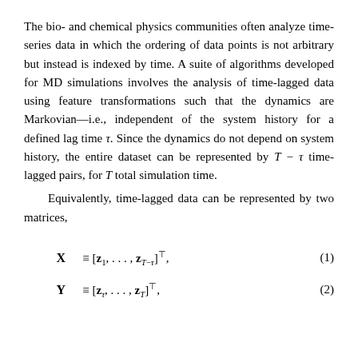The bio- and chemical physics communities often analyze time-series data in which the ordering of data points is not arbitrary but instead is indexed by time. A suite of algorithms developed for MD simulations involves the analysis of time-lagged data using feature transformations such that the dynamics are Markovian—i.e., independent of the system history for a defined lag time τ. Since the dynamics do not depend on system history, the entire dataset can be represented by T − τ time-lagged pairs, for T total simulation time.
Equivalently, time-lagged data can be represented by two matrices,